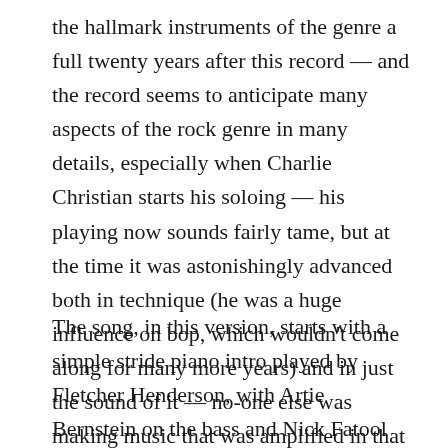the hallmark instruments of the genre a full twenty years after this record — and the record seems to anticipate many aspects of the rock genre in many details, especially when Charlie Christian starts his soloing — his playing now sounds fairly tame, but at the time it was astonishingly advanced both in technique (he was a huge influence on bop, which wouldn't come along for many more years) and in just the sound of it — no-one else was making music that was amplified in that way, with that timbre.
The song, in this version, starts with a simple stride piano intro played by Fletcher Henderson, with Artie Bernstein on the bass and Nick Fatool on the drums. This intro is basically just setting out the harmonic